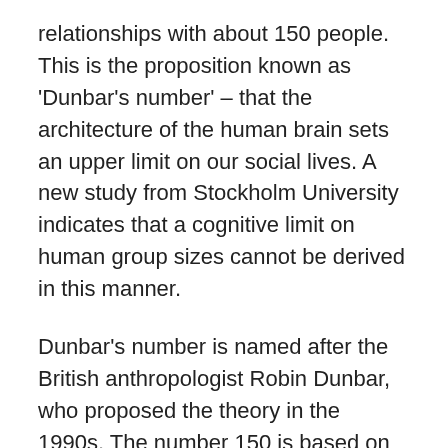relationships with about 150 people. This is the proposition known as 'Dunbar's number' – that the architecture of the human brain sets an upper limit on our social lives. A new study from Stockholm University indicates that a cognitive limit on human group sizes cannot be derived in this manner.
Dunbar's number is named after the British anthropologist Robin Dunbar, who proposed the theory in the 1990s. The number 150 is based on an extrapolation of the correlation between the relative size of the neocortex and group sizes in non-human primates. Some empirical studies have found support for this number, while other have reported other group sizes.
“The theoretical foundation of Dunbar’s number is